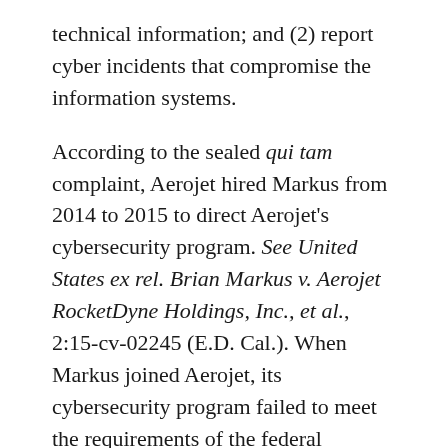technical information; and (2) report cyber incidents that compromise the information systems.
According to the sealed qui tam complaint, Aerojet hired Markus from 2014 to 2015 to direct Aerojet's cybersecurity program. See United States ex rel. Brian Markus v. Aerojet RocketDyne Holdings, Inc., et al., 2:15-cv-02245 (E.D. Cal.). When Markus joined Aerojet, its cybersecurity program failed to meet the requirements of the federal contracts and continued to fall far short of full compliance with the FARs during his employment. According to Markus, Aerojet did not provide him with sufficient resources